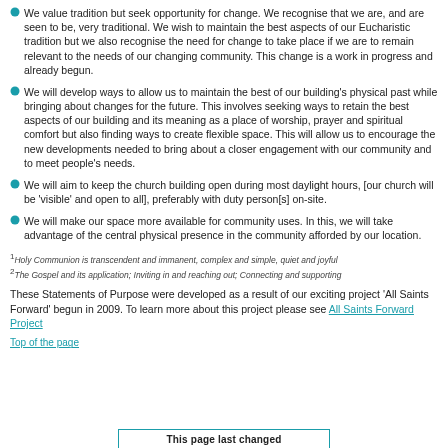We value tradition but seek opportunity for change. We recognise that we are, and are seen to be, very traditional. We wish to maintain the best aspects of our Eucharistic tradition but we also recognise the need for change to take place if we are to remain relevant to the needs of our changing community. This change is a work in progress and already begun.
We will develop ways to allow us to maintain the best of our building's physical past while bringing about changes for the future. This involves seeking ways to retain the best aspects of our building and its meaning as a place of worship, prayer and spiritual comfort but also finding ways to create flexible space. This will allow us to encourage the new developments needed to bring about a closer engagement with our community and to meet people's needs.
We will aim to keep the church building open during most daylight hours, [our church will be 'visible' and open to all], preferably with duty person[s] on-site.
We will make our space more available for community uses. In this, we will take advantage of the central physical presence in the community afforded by our location.
1Holy Communion is transcendent and immanent, complex and simple, quiet and joyful
2The Gospel and its application; Inviting in and reaching out; Connecting and supporting
These Statements of Purpose were developed as a result of our exciting project 'All Saints Forward' begun in 2009. To learn more about this project please see All Saints Forward Project
Top of the page